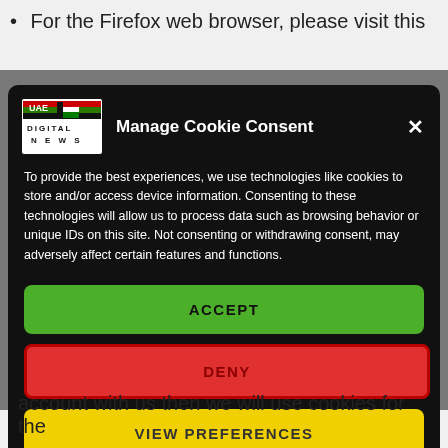For the Firefox web browser, please visit this
[Figure (screenshot): Cookie consent modal dialog with UAE Digital News logo, title 'Manage Cookie Consent', body text about cookies, and three buttons: ACCEPT (green), DENY (red), VIEW PREFERENCES (yellow)]
account with us then we will use cookies for the